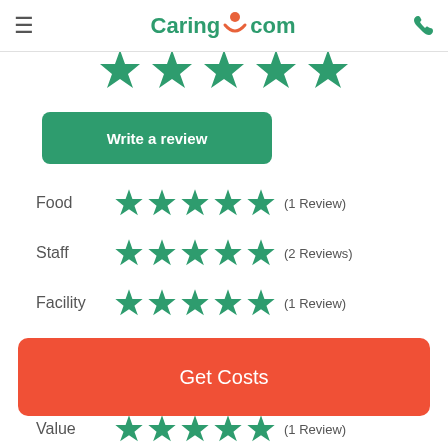Caring.com
[Figure (illustration): Five green stars partially visible at top of page]
Write a review
Food ★★★★★ (1 Review)
Staff ★★★★★ (2 Reviews)
Facility ★★★★★ (1 Review)
Get Costs
Value ★★★★★ (1 Review)